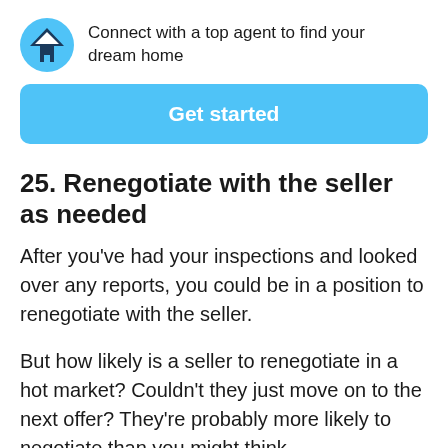Connect with a top agent to find your dream home
Get started
25. Renegotiate with the seller as needed
After you've had your inspections and looked over any reports, you could be in a position to renegotiate with the seller.
But how likely is a seller to renegotiate in a hot market? Couldn't they just move on to the next offer? They're probably more likely to negotiate than you might think.